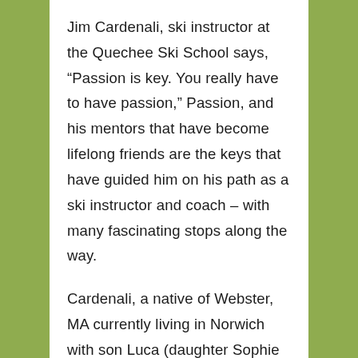Jim Cardenali, ski instructor at the Quechee Ski School says, “Passion is key. You really have to have passion,” Passion, and his mentors that have become lifelong friends are the keys that have guided him on his path as a ski instructor and coach – with many fascinating stops along the way.
Cardenali, a native of Webster, MA currently living in Norwich with son Luca (daughter Sophie lives in Burlington), is regularly on his skis; he works as a private instructor, helps with the Hanover High Race Team, coaches the